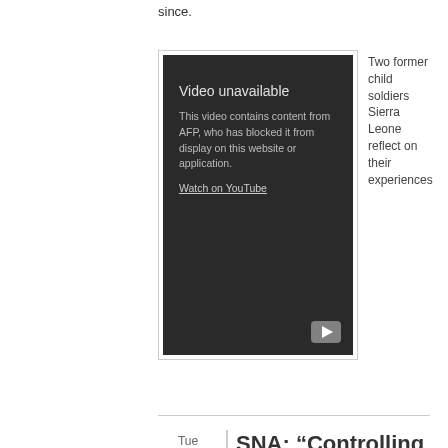since.
[Figure (screenshot): Embedded video player showing 'Video unavailable' message. Text reads: 'This video contains content from AFP, who has blocked it from display on this website or application. Watch on YouTube'. YouTube play button icon visible at bottom right.]
Two former child soldiers Sierra Leone reflect on their experiences
SNA: “Controlling Child Recruitment is Difficult”
Submitted by nnomy on Tue, 18/01/2022 - 15:17
[Figure (photo): A blurred photo showing a crowd of people gathered in what appears to be a large indoor space with an arched ceiling and light streaming in.]
Dozens of childr